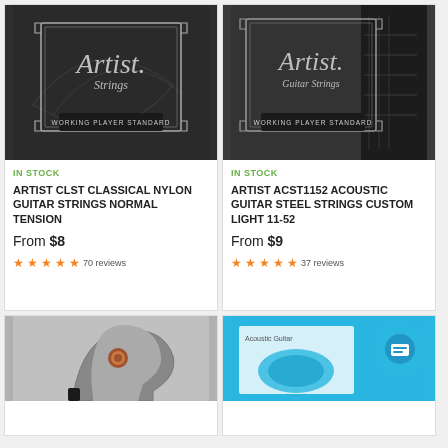[Figure (photo): Artist Strings Classical Nylon Guitar Strings product image - dark background with silver framed logo saying Artist Strings Working Player Standard]
IN STOCK
ARTIST CLST CLASSICAL NYLON GUITAR STRINGS NORMAL TENSION
From $8
70 reviews
[Figure (photo): Artist Guitar Strings Acoustic ACST1152 product image - dark background with guitar headstock and silver framed logo]
IN STOCK
ARTIST ACST1152 ACOUSTIC GUITAR STEEL STRINGS CUSTOM LIGHT 11-52
From $9
37 reviews
[Figure (photo): Bottom-left partial product image showing a metallic guitar capo or tuner device]
[Figure (photo): Bottom-right partial product image showing a blue background with Acoustic Guitar text and a chat support widget]